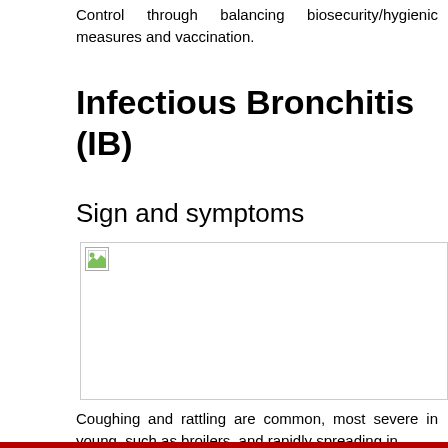Control through balancing biosecurity/hygienic measures and vaccination.
Infectious Bronchitis (IB)
Sign and symptoms
[Figure (photo): Photo showing signs of Infectious Bronchitis in poultry (image not loaded/broken)]
Coughing and rattling are common, most severe in young, such as broilers, and rapidly spreading in